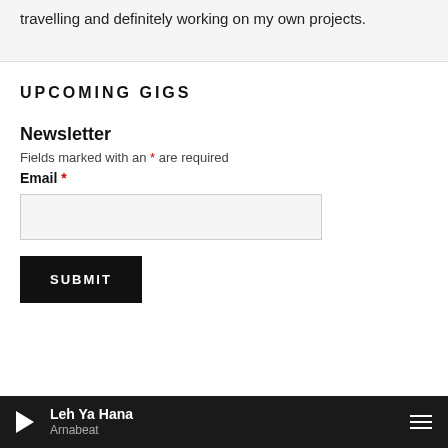travelling and definitely working on my own projects.
UPCOMING GIGS
Newsletter
Fields marked with an * are required
Email *
SUBMIT
Leh Ya Hana / Arnabeat